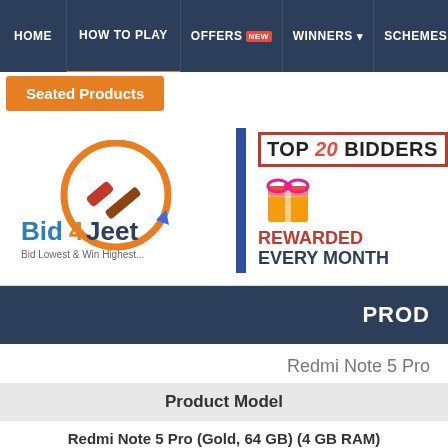HOME | HOW TO PLAY | OFFERS NEW | WINNERS | SCHEMES
Seated Products
[Figure (logo): Bid4Jeet logo with text 'Bid Lowest & Win Highest...' and promotional banner 'TOP 20 BIDDERS REWARDED EVERY MONTH']
PROD
Redmi Note 5 Pro
Product Model
Redmi Note 5 Pro (Gold, 64 GB) (4 GB RAM)